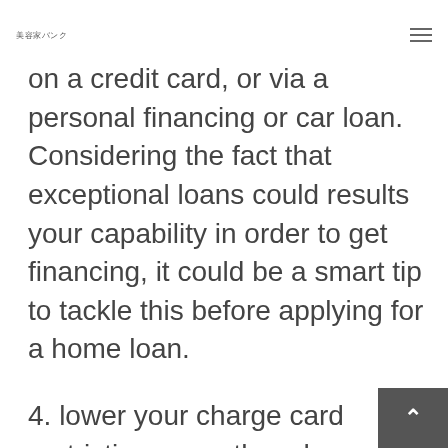美容家バンク
on a credit card, or via a personal financing or car loan. Considering the fact that exceptional loans could results your capability in order to get financing, it could be a smart tip to tackle this before applying for a home loan.
4. lower your charge card restriction: even though you don't possess a superb stability, any credit you'll be able to suck on shall be considered when a loan provider is assessing you for a mortgage